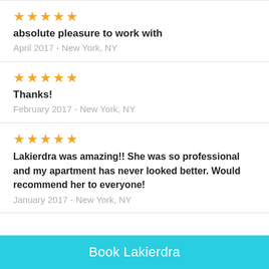★★★★★
absolute pleasure to work with
April 2017 - New York, NY
★★★★★
Thanks!
February 2017 - New York, NY
★★★★★
Lakierdra was amazing!! She was so professional and my apartment has never looked better. Would recommend her to everyone!
January 2017 - New York, NY
Book Lakierdra